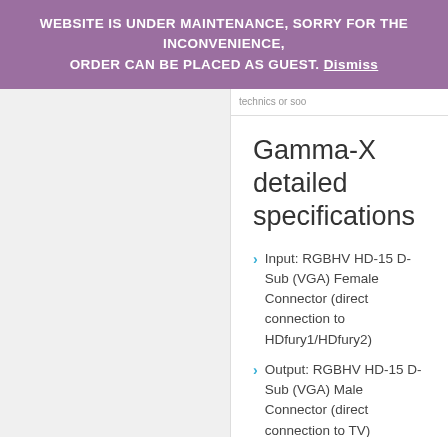WEBSITE IS UNDER MAINTENANCE, SORRY FOR THE INCONVENIENCE, ORDER CAN BE PLACED AS GUEST. Dismiss
Gamma-X detailed specifications
Input: RGBHV HD-15 D-Sub (VGA) Female Connector (direct connection to HDfury1/HDfury2)
Output: RGBHV HD-15 D-Sub (VGA) Male Connector (direct connection to TV)
Cable driver built in allowing you to use an analog output cable of any length. Useful for using the original HDfury or HDfury Gamer Edition with monitor cables or long RGB projector cables. No need to plug the HDfury or HDfury Gamer Edition directly to the